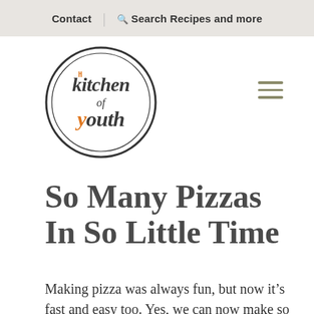Contact | Search Recipes and more
[Figure (logo): Kitchen of Youth circular logo with stylized script text]
So Many Pizzas In So Little Time
Making pizza was always fun, but now it's fast and easy too. Yes, we can now make so many